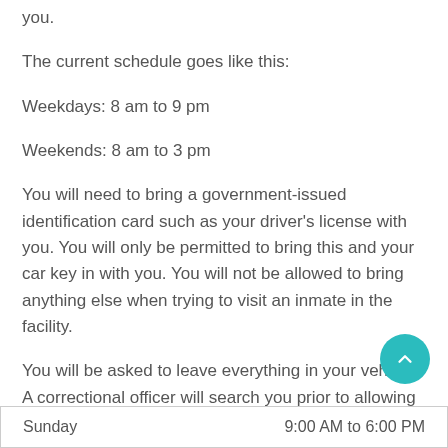you.
The current schedule goes like this:
Weekdays: 8 am to 9 pm
Weekends: 8 am to 3 pm
You will need to bring a government-issued identification card such as your driver's license with you. You will only be permitted to bring this and your car key in with you. You will not be allowed to bring anything else when trying to visit an inmate in the facility.
You will be asked to leave everything in your vehicle. A correctional officer will search you prior to allowing you into the facility.
| Day | Hours |
| --- | --- |
| Sunday | 9:00 AM to 6:00 PM |